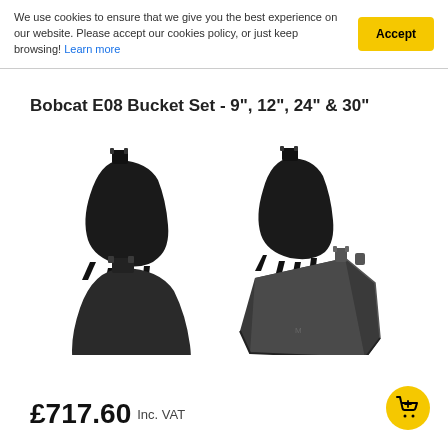We use cookies to ensure that we give you the best experience on our website. Please accept our cookies policy, or just keep browsing! Learn more
Bobcat E08 Bucket Set - 9", 12", 24" & 30"
[Figure (photo): Four Bobcat E08 excavator buckets arranged in a 2x2 grid: two smaller black buckets on top (9" and 12" toothed digger buckets), two larger grey/dark buckets on bottom (24" toothed digger bucket and 30" grading/ditching bucket)]
£717.60 Inc. VAT